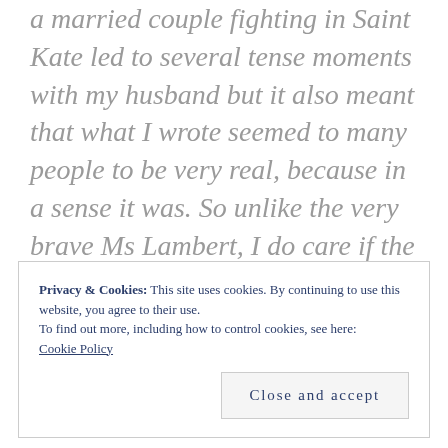a married couple fighting in Saint Kate led to several tense moments with my husband but it also meant that what I wrote seemed to many people to be very real, because in a sense it was. So unlike the very brave Ms Lambert, I do care if the world knows what my secrets are, if only so I still have something to write about.
Privacy & Cookies: This site uses cookies. By continuing to use this website, you agree to their use.
To find out more, including how to control cookies, see here:
Cookie Policy

Close and accept